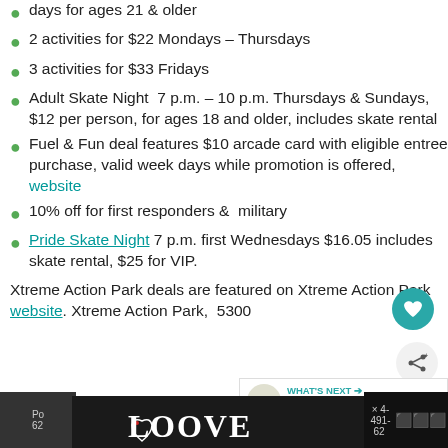days for ages 21 & older
2 activities for $22 Mondays – Thursdays
3 activities for $33 Fridays
Adult Skate Night  7 p.m. – 10 p.m. Thursdays & Sundays, $12 per person, for ages 18 and older, includes skate rental
Fuel & Fun deal features $10 arcade card with eligible entree purchase, valid week days while promotion is offered, website
10% off for first responders &  military
Pride Skate Night 7 p.m. first Wednesdays $16.05 includes skate rental, $25 for VIP.
Xtreme Action Park deals are featured on Xtreme Action Park website. Xtreme Action Park,  5300
[Figure (logo): LOOVE stylized text logo in black and white with heart design]
Po  ×  4-491-62